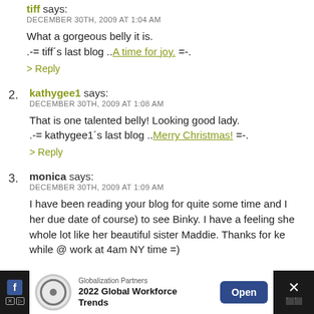tiff says: DECEMBER 30TH, 2009 AT 1:04 AM
What a gorgeous belly it is.
.-= tiff's last blog ..A time for joy. =-.
kathygee1 says: DECEMBER 30TH, 2009 AT 1:08 AM
That is one talented belly! Looking good lady.
.-= kathygee1's last blog ..Merry Christmas! =-.
monica says: DECEMBER 30TH, 2009 AT 1:09 AM
I have been reading your blog for quite some time and I her due date of course) to see Binky. I have a feeling she whole lot like her beautiful sister Maddie. Thanks for ke while @ work at 4am NY time =)
[Figure (other): Advertisement banner: Globalization Partners - 2022 Global Workforce Trends - Open button]